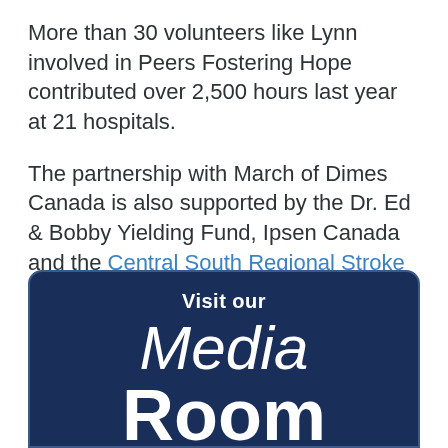More than 30 volunteers like Lynn involved in Peers Fostering Hope contributed over 2,500 hours last year at 21 hospitals.
The partnership with March of Dimes Canada is also supported by the Dr. Ed & Bobby Yielding Fund, Ipsen Canada and the Central South Regional Stroke Network.
[Figure (infographic): Dark navy blue rounded rectangle banner with text: 'Visit our' in bold white, 'Media' in large white italic, 'Room' in large bold white.]